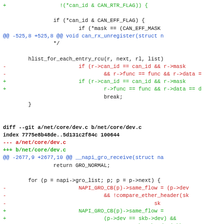Code diff showing changes to net/core/can and net/core/dev.c files in a git diff format, with added lines in green (+), removed lines in red (-), and context/hunk headers in blue.